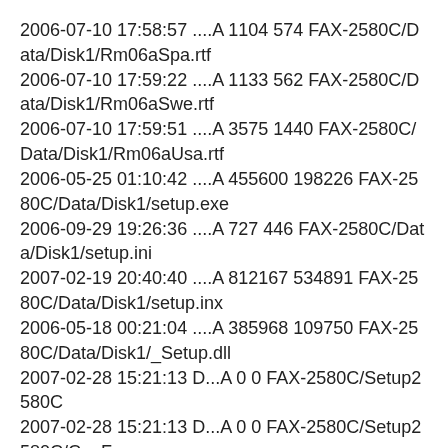2006-07-10 17:58:57 ....A 1104 574 FAX-2580C/Data/Disk1/Rm06aSpa.rtf
2006-07-10 17:59:22 ....A 1133 562 FAX-2580C/Data/Disk1/Rm06aSwe.rtf
2006-07-10 17:59:51 ....A 3575 1440 FAX-2580C/Data/Disk1/Rm06aUsa.rtf
2006-05-25 01:10:42 ....A 455600 198226 FAX-2580C/Data/Disk1/setup.exe
2006-09-29 19:26:36 ....A 727 446 FAX-2580C/Data/Disk1/setup.ini
2007-02-19 20:40:40 ....A 812167 534891 FAX-2580C/Data/Disk1/setup.inx
2006-05-18 00:21:04 ....A 385968 109750 FAX-2580C/Data/Disk1/_Setup.dll
2007-02-28 15:21:13 D...A 0 0 FAX-2580C/Setup2580C
2007-02-28 15:21:13 D...A 0 0 FAX-2580C/Setup2580C/CanFre
2006-02-28 19:22:25 ....A 1219 642 FAX-